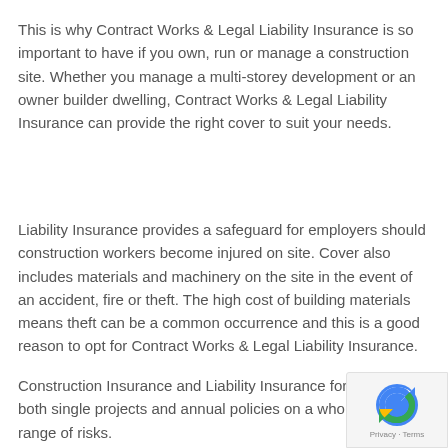This is why Contract Works & Legal Liability Insurance is so important to have if you own, run or manage a construction site. Whether you manage a multi-storey development or an owner builder dwelling, Contract Works & Legal Liability Insurance can provide the right cover to suit your needs.
Liability Insurance provides a safeguard for employers should construction workers become injured on site. Cover also includes materials and machinery on the site in the event of an accident, fire or theft. The high cost of building materials means theft can be a common occurrence and this is a good reason to opt for Contract Works & Legal Liability Insurance.
Construction Insurance and Liability Insurance for both single projects and annual policies on a whole range of risks.